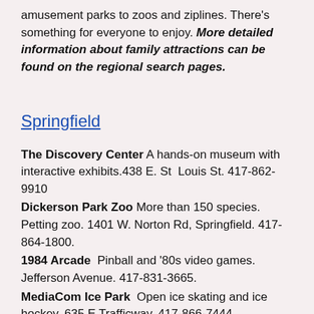amusement parks to zoos and ziplines. There's something for everyone to enjoy. More detailed information about family attractions can be found on the regional search pages.
Springfield
The Discovery Center A hands-on museum with interactive exhibits.438 E. St Louis St. 417-862-9910
Dickerson Park Zoo More than 150 species. Petting zoo. 1401 W. Norton Rd, Springfield. 417-864-1800.
1984 Arcade Pinball and '80s video games. Jefferson Avenue. 417-831-3665.
MediaCom Ice Park Open ice skating and ice hockey. 635 E Trafficway. 417-866-7444.
Springfield Skatepark Large Indoor and outdoor park. 945 W. Meadowmere St. Springfield. 417-868-